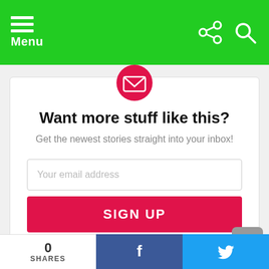Menu
[Figure (screenshot): Newsletter signup card with email envelope icon, heading 'Want more stuff like this?', subtitle, email input field, SIGN UP button, and no-spam notice]
Want more stuff like this?
Get the newest stories straight into your inbox!
Your email address
SIGN UP
Don't worry, we don't spam
Previous article
0 SHARES